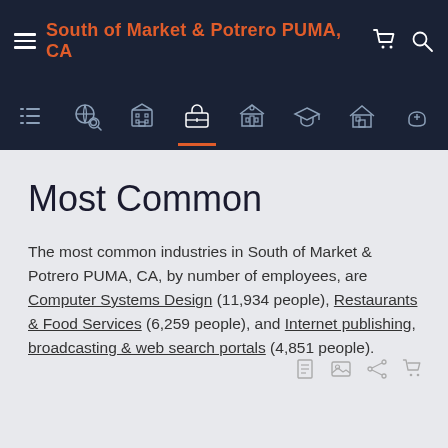South of Market & Potrero PUMA, CA
Most Common
The most common industries in South of Market & Potrero PUMA, CA, by number of employees, are Computer Systems Design (11,934 people), Restaurants & Food Services (6,259 people), and Internet publishing, broadcasting & web search portals (4,851 people).